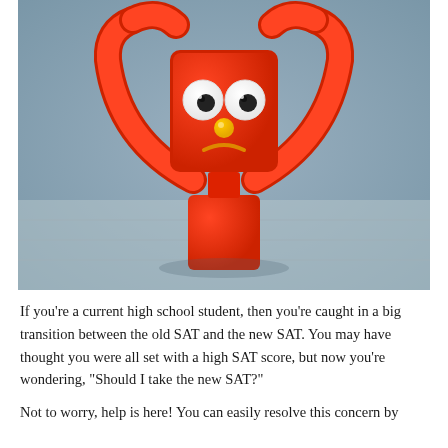[Figure (photo): A red toy robot figure with googly eyes, a yellow ball nose, and a sad frown face. The robot has its arms raised up to its head in a confused or worried gesture. It is made of red plastic and photographed against a blurred blue-gray background.]
If you're a current high school student, then you're caught in a big transition between the old SAT and the new SAT. You may have thought you were all set with a high SAT score, but now you're wondering, "Should I take the new SAT?"
Not to worry, help is here! You can easily resolve this concern by